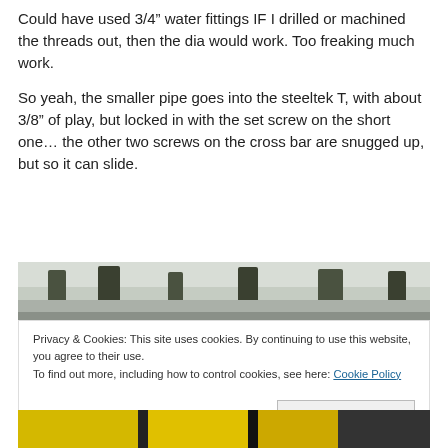Could have used 3/4” water fittings IF I drilled or machined the threads out, then the dia would work. Too freaking much work.
So yeah, the smaller pipe goes into the steeltek T, with about 3/8” of play, but locked in with the set screw on the short one… the other two screws on the cross bar are snugged up, but so it can slide.
[Figure (photo): Outdoor winter scene with trees and snow in the background, partially visible at top of cookie banner overlay.]
Privacy & Cookies: This site uses cookies. By continuing to use this website, you agree to their use.
To find out more, including how to control cookies, see here: Cookie Policy
Close and accept
[Figure (photo): Bottom portion of another photograph, partially cut off, showing yellow and dark elements.]